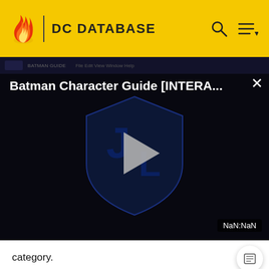DC DATABASE
[Figure (screenshot): Video player showing Batman Character Guide [INTERA...] with a play button over a dark Justice League shield logo. Time display shows NaN:NaN.]
category.